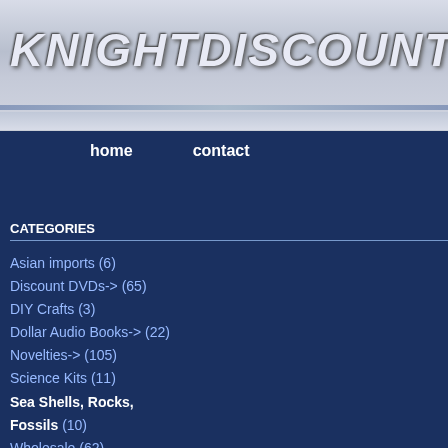[Figure (logo): KnightDiscount logo in large italic bold white/silver text on a gray-blue gradient header background]
home   contact
CATEGORIES
Asian imports (6)
Discount DVDs-> (65)
DIY Crafts (3)
Dollar Audio Books-> (22)
Novelties-> (105)
Science Kits (11)
Sea Shells, Rocks, Fossils (10)
Wholesale (62)
Software-> (1829)
Video Game Accessories-> (116)
Computer Accessories (64)
Electronics (17)
Top » Catalog » Sea Shells, Rocks, Fossils
Cart Contents | Checkout
Show: All Manufacturers
|  | Product Name+ |  |
| --- | --- | --- |
| [image: Authentic Fossils Science Kit] | Authentic Fossils Science Kit |  |
| [image: Break Your Own Geodes] | Break Your Own Geodes |  |